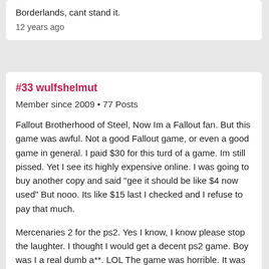Borderlands, cant stand it.
12 years ago
#33 wulfshelmut
Member since 2009 • 77 Posts
Fallout Brotherhood of Steel, Now Im a Fallout fan. But this game was awful. Not a good Fallout game, or even a good game in general. I paid $30 for this turd of a game. Im still pissed. Yet I see its highly expensive online. I was going to buy another copy and said "gee it should be like $4 now used" But nooo. Its like $15 last I checked and I refuse to pay that much.
Mercenaries 2 for the ps2. Yes I know, I know please stop the laughter. I thought I would get a decent ps2 game. Boy was I a real dumb a**. LOL The game was horrible. It was like the developer (not pandemic) had just copy and pasted mercs 1 with some mercs 2 references. The graphics looked like crap, the gameplay